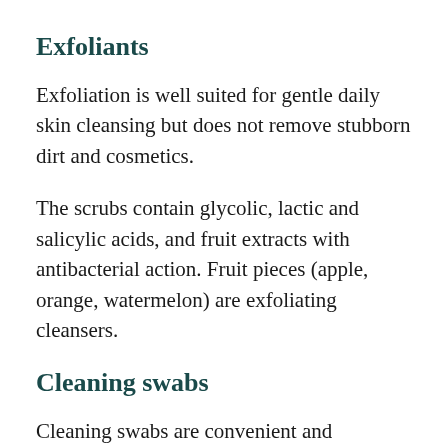Exfoliants
Exfoliation is well suited for gentle daily skin cleansing but does not remove stubborn dirt and cosmetics.
The scrubs contain glycolic, lactic and salicylic acids, and fruit extracts with antibacterial action. Fruit pieces (apple, orange, watermelon) are exfoliating cleansers.
Cleaning swabs
Cleaning swabs are convenient and